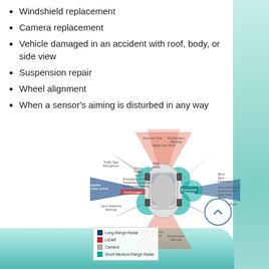Windshield replacement
Camera replacement
Vehicle damaged in an accident with roof, body, or side view
Suspension repair
Wheel alignment
When a sensor's aiming is disturbed in any way
[Figure (infographic): Top-down diagram of a vehicle showing various sensor zones: Long-Range Radar (dark blue), LiDAR (red), Camera (grey), Short-Medium-Range Radar (teal). Labels include Adaptive Cruise Control, Traffic Sign Recognition, Emergency Braking, Pedestrian Detection, Collision Avoidance, Environment Mapping, Lane Departure Warning, Park Assist, Cross Traffic Alert, Surround View, Digital Side Mirror, Blind Spot Detection, Rear Collision Warning, Park Assistance, Rear View Mirror, and others.]